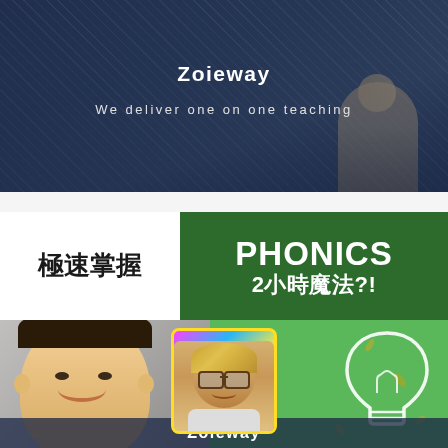[Figure (photo): Top banner with dark blue-grey overlay background showing a tutor and student scene, with brand name Zoieway and tagline 'We deliver one on one teaching']
Zoieway
We deliver one on one teaching
[Figure (infographic): Phonics promotional banner in green and white. Top section: white background with Chinese text '極速掌握' on left and 'PHONICS' in large bold green text on right, with '2小時魔法?!' below. Lower green section shows a smiling child on the left, a cartoon-style teacher profile photo in the center, and a white lightbulb icon on the right.]
極速掌握 PHONICS 2小時魔法?!
Zoieway